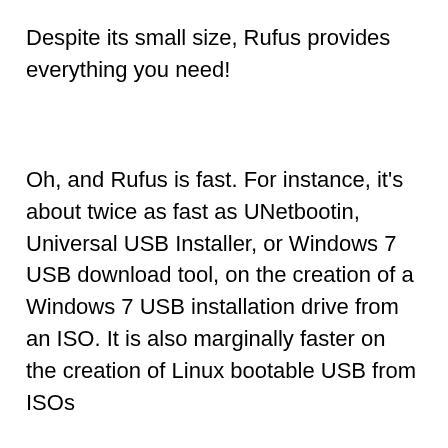Despite its small size, Rufus provides everything you need!
Oh, and Rufus is fast. For instance, it's about twice as fast as UNetbootin, Universal USB Installer, or Windows 7 USB download tool, on the creation of a Windows 7 USB installation drive from an ISO. It is also marginally faster on the creation of Linux bootable USB from ISOs
Supported Languages:
Bahasa Indonesia, Bahasa Malaysia, Български, Čeština,Dansk, Deutsch, Ελληνικά, English, Español,Français, Hrvatski, Italiano, Latviešu, Lietuvių,